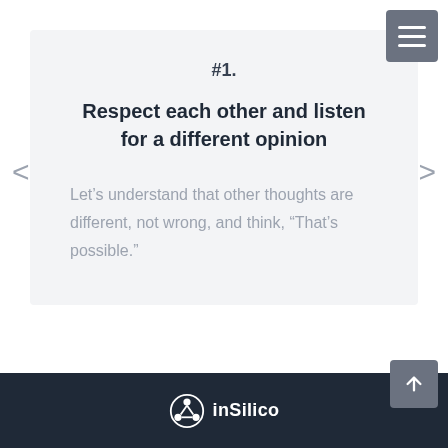[Figure (screenshot): Menu hamburger button top right corner, grey square with three white horizontal lines]
#1.
Respect each other and listen for a different opinion
Let's understand that other thoughts are different, not wrong, and think, “That’s possible.”
inSilico logo footer